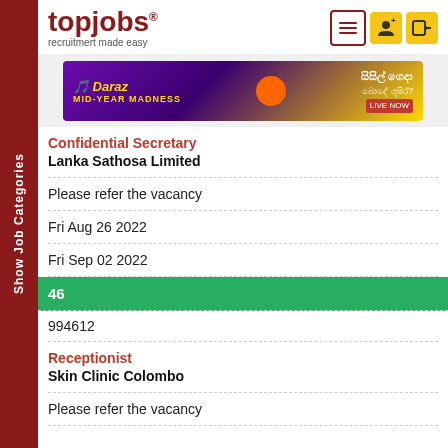[Figure (logo): topjobs logo with tagline 'recruitmert made easy']
[Figure (photo): Daraz MID-YEAR MADNESS advertisement banner]
Confidential Secretary
Lanka Sathosa Limited
Please refer the vacancy
Fri Aug 26 2022
Fri Sep 02 2022
46
994612
Receptionist
Skin Clinic Colombo
Please refer the vacancy